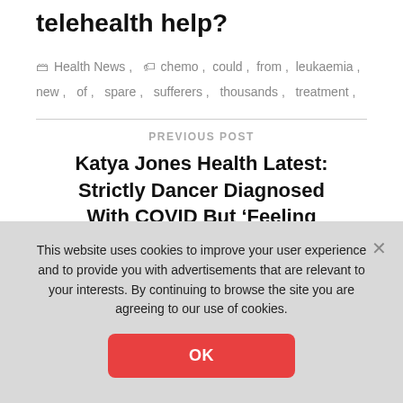telehealth help?
Health News, chemo, could, from, leukaemia, new, of, spare, sufferers, thousands, treatment,
PREVIOUS POST
Katya Jones Health Latest: Strictly Dancer Diagnosed With COVID But ‘Feeling Good’
NEXT POST
This website uses cookies to improve your user experience and to provide you with advertisements that are relevant to your interests. By continuing to browse the site you are agreeing to our use of cookies.